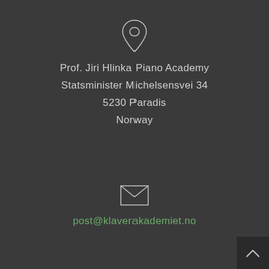[Figure (illustration): Location pin / map marker icon in light grey outline style]
Prof. Jiri Hlinka Piano Academy
Statsminister Michelsensvei 34
5230 Paradis
Norway
[Figure (illustration): Envelope / email icon in light grey outline style]
post@klaverakademiet.no
[Figure (illustration): Back to top arrow button in dark square at bottom right corner]